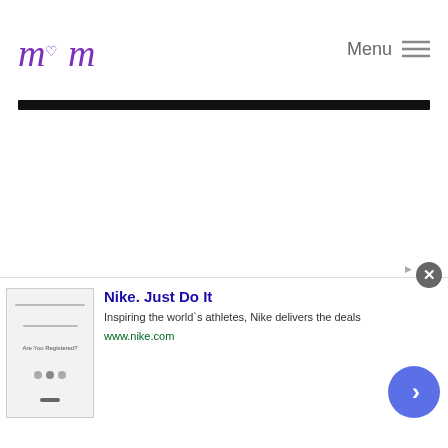m  Menu
[Figure (other): Black horizontal navigation bar/divider]
[Figure (other): White content area (blank/loading)]
[Figure (other): Nike advertisement banner at bottom: Nike. Just Do It - Inspiring the world's athletes, Nike delivers the deals - www.nike.com]